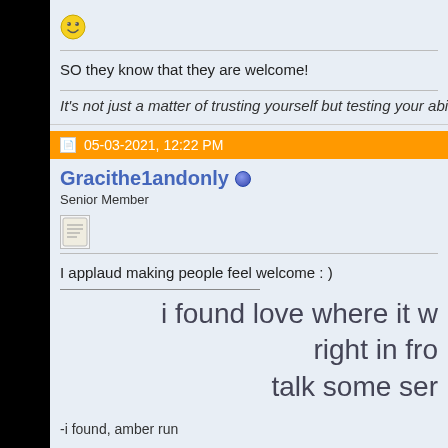[Figure (illustration): Smiley face emoji icon]
SO they know that they are welcome!
It's not just a matter of trusting yourself but testing your abilities -
05-03-2021, 12:22 PM
Gracithe1andonly
Senior Member
I applaud making people feel welcome : )
i found love where it w
right in fro
talk some ser
-i found, amber run